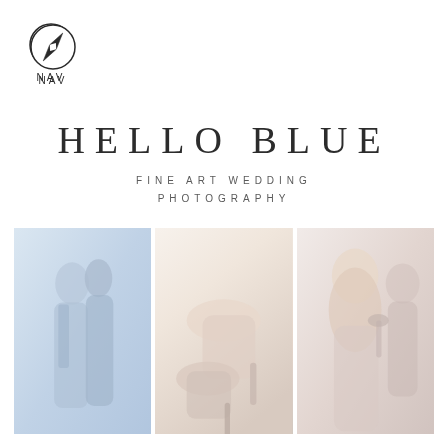[Figure (logo): Compass/navigation logo icon with circle and compass needle, with text NAV below]
HELLO BLUE
FINE ART WEDDING PHOTOGRAPHY
[Figure (photo): Three side-by-side washed-out fine art wedding photography panels: left panel shows bride and groom in close embrace, center panel shows bridal shoes/heels detail, right panel shows smiling blonde bride with bridesmaids holding champagne glasses]